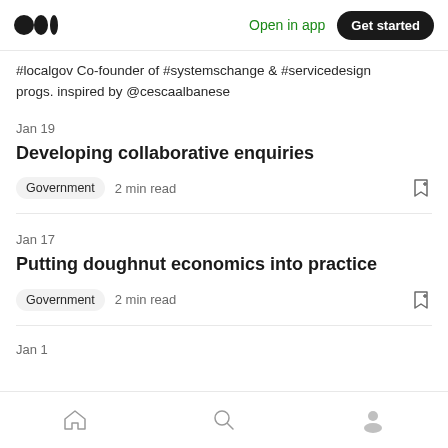Medium logo | Open in app | Get started
#localgov Co-founder of #systemschange & #servicedesign progs. inspired by @cescaalbanese
Jan 19
Developing collaborative enquiries
Government  2 min read
Jan 17
Putting doughnut economics into practice
Government  2 min read
Jan 1